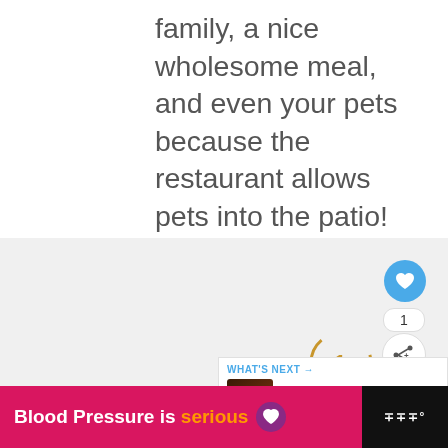family, a nice wholesome meal, and even your pets because the restaurant allows pets into the patio! Don't forget to check out their smoked beef ribs with some creamy mac and cheese.
[Figure (photo): Image area with UI overlay elements: heart/like button (blue circle with heart icon, count '1'), share button, gold circle partial, and 'What's Next' panel showing 'How Long To Smoke Ribs ...' with thumbnail]
[Figure (screenshot): Advertisement banner: pink/red background with text 'Blood Pressure is serious' with a purple heart emoji, on a black bar with a logo on the right]